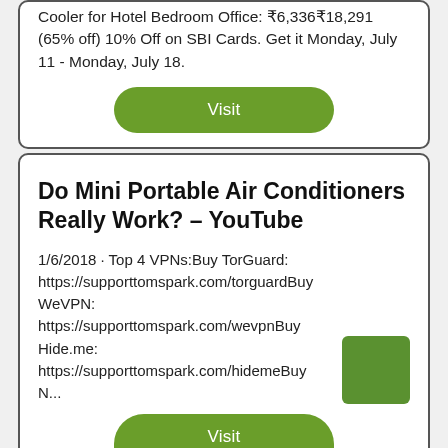Cooler for Hotel Bedroom Office: ₹6,336₹18,291 (65% off) 10% Off on SBI Cards. Get it Monday, July 11 - Monday, July 18.
Visit
Do Mini Portable Air Conditioners Really Work? – YouTube
1/6/2018  · Top 4 VPNs:Buy TorGuard: https://supporttomspark.com/torguardBuy WeVPN: https://supporttomspark.com/wevpnBuy Hide.me: https://supporttomspark.com/hidemeBuy N...
Visit